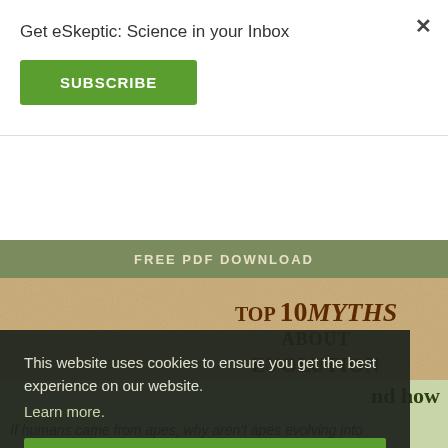Get eSkeptic: Science in your Inbox
SUBSCRIBE
FREE PDF DOWNLOAD
[Figure (illustration): Book cover for 'Top 10 Myths About Evolution' showing a sandy background with a human footprint and a trilobite fossil]
This website uses cookies to ensure you get the best experience on our website.
Learn more.
GOT IT!
nd how
If humans came from apes, why aren't apes evolving into